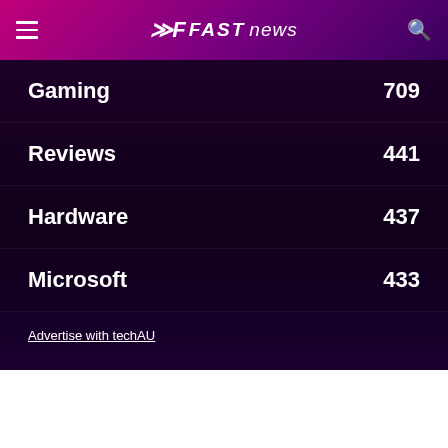FAST NEWS
Gaming 709
Reviews 441
Hardware 437
Microsoft 433
Advertise with techAU